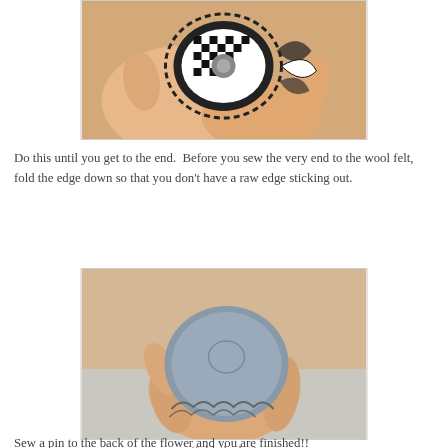[Figure (photo): A hand holding a black and white checkered fabric flower/rosette, showing the front ruffle detail.]
Do this until you get to the end.  Before you sew the very end to the wool felt, fold the edge down so that you don't have a raw edge sticking out.
[Figure (photo): A hand holding a grey wool felt circle from the back, showing the folded edge of the fabric flower attached.]
(folded edge)
Sew a pin to the back of the flower and you are finished!!